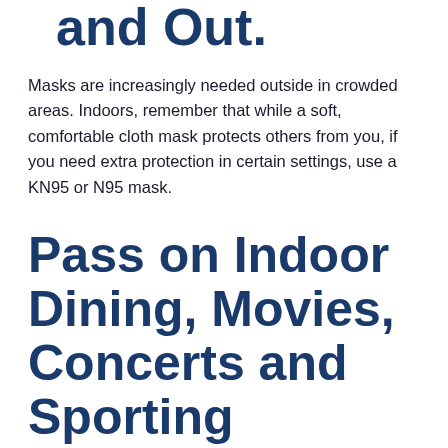and Out.
Masks are increasingly needed outside in crowded areas. Indoors, remember that while a soft, comfortable cloth mask protects others from you, if you need extra protection in certain settings, use a KN95 or N95 mask.
Pass on Indoor Dining, Movies, Concerts and Sporting Events.
Always consider following it up to be on...